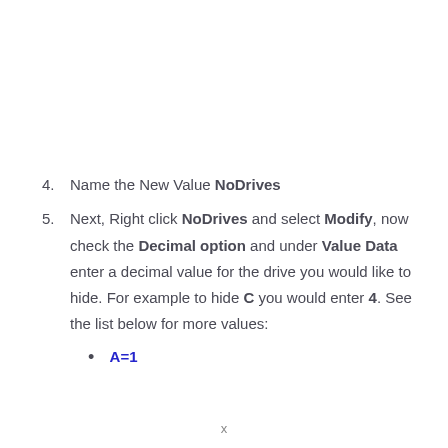4. Name the New Value NoDrives
5. Next, Right click NoDrives and select Modify, now check the Decimal option and under Value Data enter a decimal value for the drive you would like to hide. For example to hide C you would enter 4. See the list below for more values:
A=1